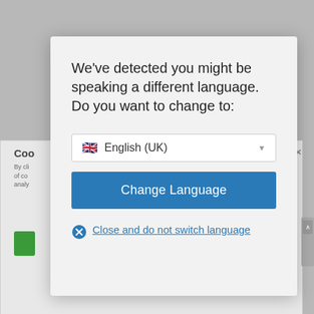[Figure (screenshot): Background page partially visible behind modal dialog, showing text 'Coo', 'By cli', 'of co', 'analy', a green button, a close X button, and a scroll arrow]
We've detected you might be speaking a different language. Do you want to change to:
[Figure (screenshot): Dropdown selector showing UK flag emoji and text 'English (UK)' with a down-arrow triangle]
Change Language
Close and do not switch language